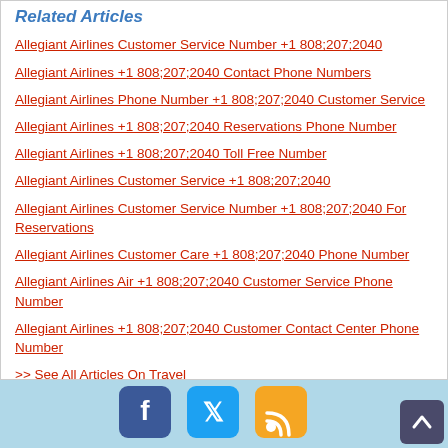Related Articles
Allegiant Airlines Customer Service Number +1 808;207;2040
Allegiant Airlines +1 808;207;2040 Contact Phone Numbers
Allegiant Airlines Phone Number +1 808;207;2040 Customer Service
Allegiant Airlines +1 808;207;2040 Reservations Phone Number
Allegiant Airlines +1 808;207;2040 Toll Free Number
Allegiant Airlines Customer Service +1 808;207;2040
Allegiant Airlines Customer Service Number +1 808;207;2040 For Reservations
Allegiant Airlines Customer Care +1 808;207;2040 Phone Number
Allegiant Airlines Air +1 808;207;2040 Customer Service Phone Number
Allegiant Airlines +1 808;207;2040 Customer Contact Center Phone Number
>> See All Articles On Travel
[Figure (other): Social media icons (Facebook, Twitter, RSS) and scroll-to-top button on a light blue footer bar]